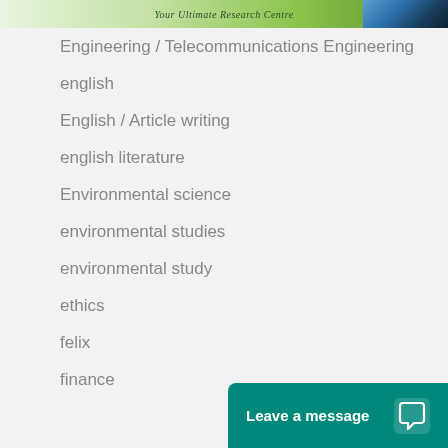Your Ultimate Research Centre
Engineering / Telecommunications Engineering
english
English / Article writing
english literature
Environmental science
environmental studies
environmental study
ethics
felix
finance
[Figure (other): Leave a message chat widget button in teal/green color with chat bubble icon]